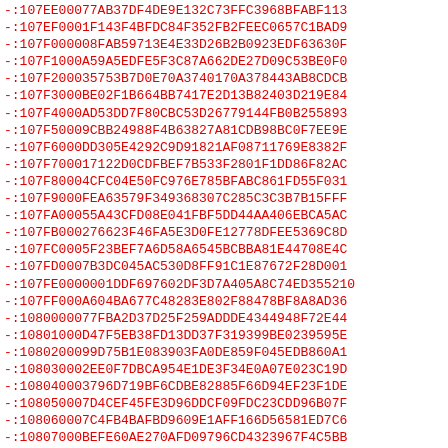-:107EE00077AB37DF4DE9E132C73FFC3968BFABF113
-:107EF0001F143F4BFDC84F352FB2FEEC0657C1BAD9
-:107F000008FAB59713E4E33D26B2B0923EDF63630F
-:107F1000A59A5EDFE5F3C87A662DE27D09C53BE0F0
-:107F200035753B7D0E70A3740170A378443AB8CDCB
-:107F3000BE02F1B664BB7417E2D13B82403D219E84
-:107F4000AD53DD7F80CBC53D26779144FB0B255893
-:107F50009CBB24988F4B63827A81CDB98BC0F7EE9E
-:107F6000DD305E4292C9D91821AF08711769E8382F
-:107F700017122D0CDFBEF7B533F2801F1DD86F82AC
-:107F80004CFC04E50FC976E785BFABC861FD55F031
-:107F9000FEA63579F349368307C285C3C3B7B15FFF
-:107FA00055A43CFD08E041FBF5DD44AA406EBCA5AC
-:107FB000276623F46FA5E3D0FE12778DFEE5369C8D
-:107FC0005F23BEF7A6D58A6545BCBBA81E44708E4C
-:107FD0007B3DC045AC530D8FF91C1E87672F28D001
-:107FE0000001DDF697602DF3D7A405A8C74ED355210
-:107FF000A604BA677C48283E802F88478BF8A8AD36
-:1080000077FBA2D37D25F259ADDDE4344948F72E44
-:10801000D47F5EB38FD13DD37F319399BE0239595E
-:1080200099D75B1E083903FA0DE859F045EDB860A1
-:108030002EE0F7DBCA954E1DE3F34E0A07E023C19D
-:108040003796D719BF6CDBE82885F66D94EF23F1DE
-:108050007D4CEF45FE3D96DDCF09FDC23CDD96B07F
-:108060007C4FB4BAFBD9609E1AFF166D56581ED7C6
-:10807000BEFE60AE270AFD09796CD4323967F4C5BB
-:10808000F858BF6C3C2305B7A5104B2FE8A3980DFB
-:108090000C3EEA7ED26D664E8F46EBE7548F4FA7BB
-:1080A00048EA9F43C8648D27DD46FB5F630C1EA32F
-:1080B0009825191B427A984722E82EE09F5D313EB1